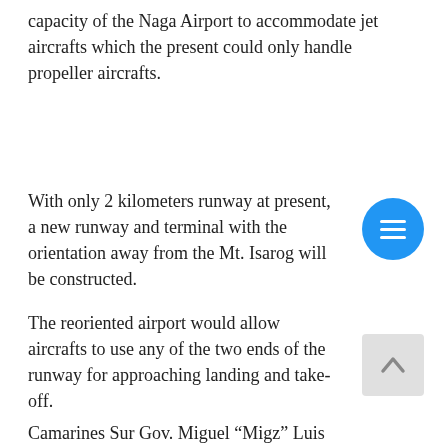capacity of the Naga Airport to accommodate jet aircrafts which the present could only handle propeller aircrafts.
With only 2 kilometers runway at present, a new runway and terminal with the orientation away from the Mt. Isarog will be constructed.
The reoriented airport would allow aircrafts to use any of the two ends of the runway for approaching landing and take-off.
Camarines Sur Gov. Miguel “Migz” Luis